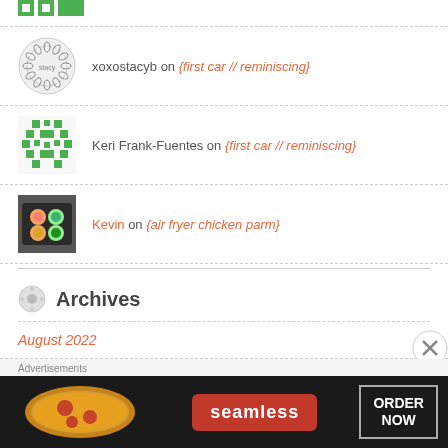[Figure (logo): Partial green logo at top]
xoxostacyb on {first car // reminiscing}
Keri Frank-Fuentes on {first car // reminiscing}
Kevin on {air fryer chicken parm}
Archives
August 2022
July 2022
[Figure (screenshot): Seamless food delivery advertisement banner with pizza image and ORDER NOW button]
Advertisements